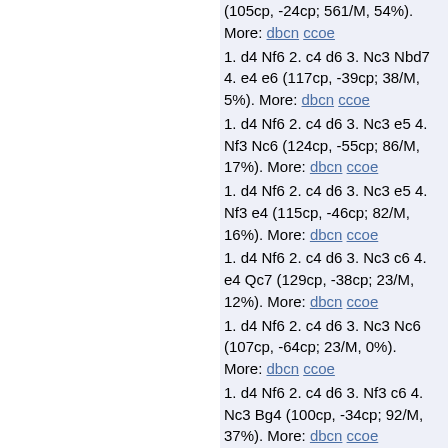(105cp, -24cp; 561/M, 54%). More: dbcn ccoe
1. d4 Nf6 2. c4 d6 3. Nc3 Nbd7 4. e4 e6 (117cp, -39cp; 38/M, 5%). More: dbcn ccoe
1. d4 Nf6 2. c4 d6 3. Nc3 e5 4. Nf3 Nc6 (124cp, -55cp; 86/M, 17%). More: dbcn ccoe
1. d4 Nf6 2. c4 d6 3. Nc3 e5 4. Nf3 e4 (115cp, -46cp; 82/M, 16%). More: dbcn ccoe
1. d4 Nf6 2. c4 d6 3. Nc3 c6 4. e4 Qc7 (129cp, -38cp; 23/M, 12%). More: dbcn ccoe
1. d4 Nf6 2. c4 d6 3. Nc3 Nc6 (107cp, -64cp; 23/M, 0%). More: dbcn ccoe
1. d4 Nf6 2. c4 d6 3. Nf3 c6 4. Nc3 Bg4 (100cp, -34cp; 92/M, 37%). More: dbcn ccoe
1. d4 Nf6 2. c4 d6 3. Nf3 c6 4. Nc3 Qc7 (126cp, -60cp; 22/M, 9%). More: dbcn ccoe
1. d4 Nf6 2. c4 e5 3. dxe5 Ng4 4. Bf4 g5 (120cp, -82cp; 144/M, 18%). More: dbcn ccoe
1. d4 Nf6 2. c4 Nc6 3. Nc3 e5 4. d5 Ne7 (117cp, -43cp; 148/M, 98%). More: dbcn ccoe
1. d4 Nf6 2. c4 b6 3. Nc3